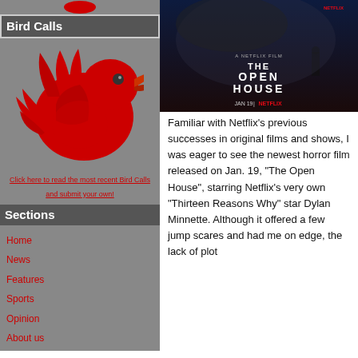[Figure (illustration): Red bird Twitter-style logo illustration on gray background]
Bird Calls
Click here to read the most recent Bird Calls and submit your own!
Sections
Home
News
Features
Sports
Opinion
About us
[Figure (photo): Movie poster for The Open House, a Netflix film. Shows a dark atmospheric scene with text: A NETFLIX FILM / THE OPEN HOUSE / JAN 19 | NETFLIX]
Familiar with Netflix’s previous successes in original films and shows, I was eager to see the newest horror film released on Jan. 19, “The Open House”, starring Netflix’s very own “Thirteen Reasons Why” star Dylan Minnette. Although it offered a few jump scares and had me on edge, the lack of plot